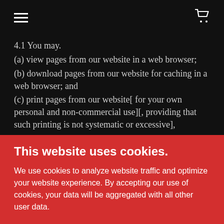Navigation header with hamburger menu and cart icon
4.1 You may.
(a) view pages from our website in a web browser;
(b) download pages from our website for caching in a web browser; and
(c) print pages from our website[ for your own personal and non-commercial use][, providing that such printing is not systematic or excessive],
[additional list items]
subject to the other provisions of this disclaimer
This website uses cookies.
We use cookies to analyze website traffic and optimize your website experience. By accepting our use of cookies, your data will be aggregated with all other user data.